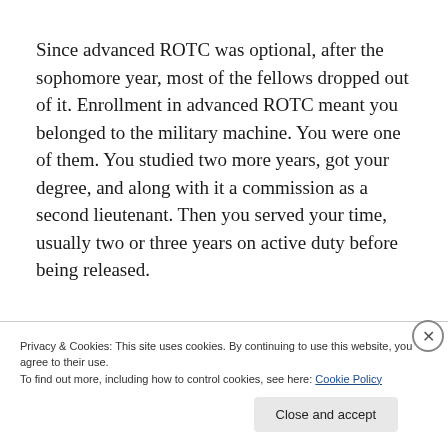Since advanced ROTC was optional, after the sophomore year, most of the fellows dropped out of it. Enrollment in advanced ROTC meant you belonged to the military machine. You were one of them. You studied two more years, got your degree, and along with it a commission as a second lieutenant. Then you served your time, usually two or three years on active duty before being released.
Privacy & Cookies: This site uses cookies. By continuing to use this website, you agree to their use.
To find out more, including how to control cookies, see here: Cookie Policy